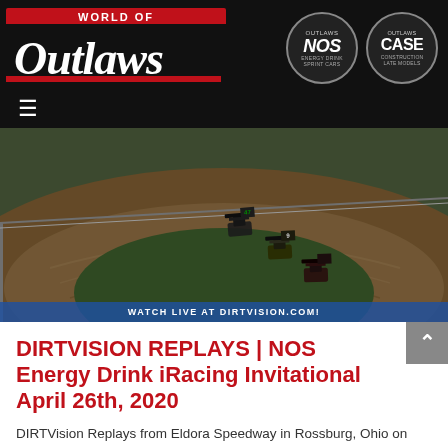[Figure (logo): World of Outlaws logo — red banner with white stylized text on black background, with NOS Energy Drink and CASE Construction sponsor logos in circles]
[Figure (photo): iRacing simulation screenshot of sprint cars racing on a dirt oval track at Eldora Speedway, aerial/broadcast camera angle, with 'WATCH LIVE AT DIRTVISION.COM!' banner at bottom]
DIRTVISION REPLAYS | NOS Energy Drink iRacing Invitational April 26th, 2020
DIRTVision Replays from Eldora Speedway in Rossburg, Ohio on April 26th, 2020 – World of Outlaws NOS Energy